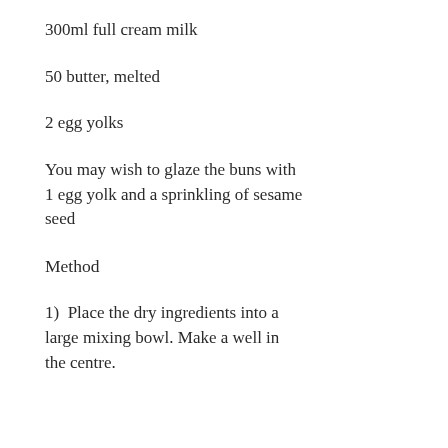300ml full cream milk
50 butter, melted
2 egg yolks
You may wish to glaze the buns with 1 egg yolk and a sprinkling of sesame seed
Method
1)  Place the dry ingredients into a large mixing bowl. Make a well in the centre.